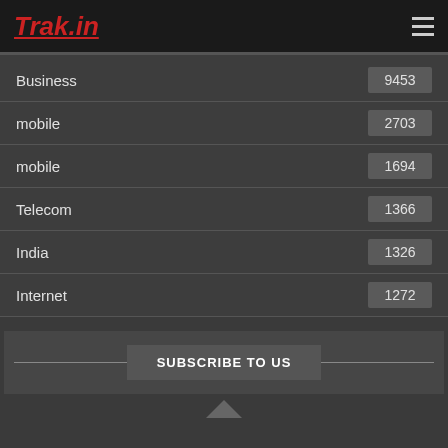Trak.in
Business  9453
mobile  2703
mobile  1694
Telecom  1366
India  1326
Internet  1272
SUBSCRIBE TO US